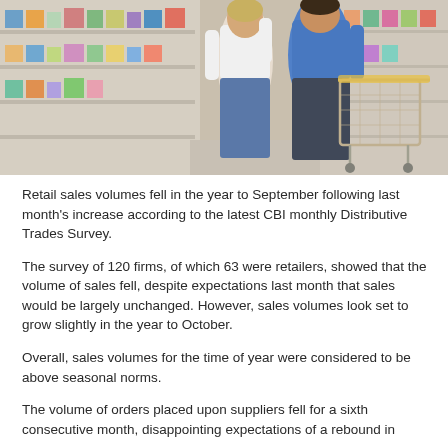[Figure (photo): A couple shopping in a supermarket aisle. A woman in a white top and jeans and a man in a blue long-sleeve shirt push a shopping cart past shelves stocked with products.]
Retail sales volumes fell in the year to September following last month's increase according to the latest CBI monthly Distributive Trades Survey.
The survey of 120 firms, of which 63 were retailers, showed that the volume of sales fell, despite expectations last month that sales would be largely unchanged. However, sales volumes look set to grow slightly in the year to October.
Overall, sales volumes for the time of year were considered to be above seasonal norms.
The volume of orders placed upon suppliers fell for a sixth consecutive month, disappointing expectations of a rebound in